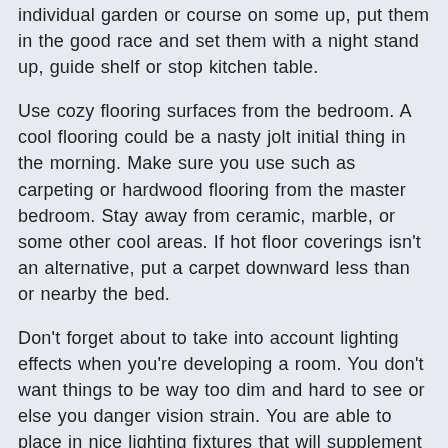individual garden or course on some up, put them in the good race and set them with a night stand up, guide shelf or stop kitchen table.
Use cozy flooring surfaces from the bedroom. A cool flooring could be a nasty jolt initial thing in the morning. Make sure you use such as carpeting or hardwood flooring from the master bedroom. Stay away from ceramic, marble, or some other cool areas. If hot floor coverings isn't an alternative, put a carpet downward less than or nearby the bed.
Don't forget about to take into account lighting effects when you're developing a room. You don't want things to be way too dim and hard to see or else you danger vision strain. You are able to place in nice lighting fixtures that will supplement your room, or you can use sun light. Mirrors are wonderful at exhibiting gentle from windows, so tactical positioning of any vanity mirror may help lighten an area with normal sun light.
You can significantly enhance your internal-style alternatives throughout your next house-improvement venture by electrical wiring one of several stores in the duplex wall structure outlet to a gentle switch. This will allow you to work with a table or floor lamp